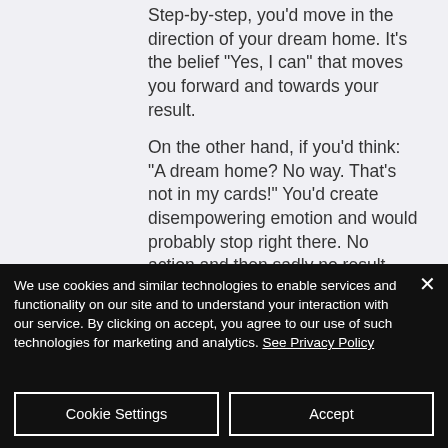Step-by-step, you'd move in the direction of your dream home. It's the belief "Yes, I can" that moves you forward and towards your result.
On the other hand, if you'd think: "A dream home? No way. That's not in my cards!" You'd create disempowering emotion and would probably stop right there. No action and then sadly no result.
We use cookies and similar technologies to enable services and functionality on our site and to understand your interaction with our service. By clicking on accept, you agree to our use of such technologies for marketing and analytics. See Privacy Policy